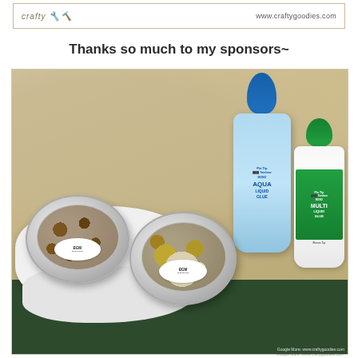www.craftygoodies.com
Thanks so much to my sponsors~
[Figure (photo): Photo of two BGM branded round tin containers with clear lids, one containing buttons and one containing gold embellishments and pearl buttons, alongside two Tombow glue bottles (Mono Aqua Liquid Glue in blue and Mono Multi Liquid Glue in green/white), placed on a white cloth and dark green fabric with a stone/sand background.]
Google More: www.craftygoodies.com